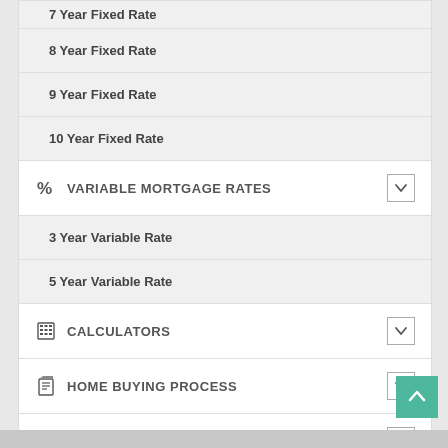7 Year Fixed Rate (partial, cut off at top)
8 Year Fixed Rate
9 Year Fixed Rate
10 Year Fixed Rate
% VARIABLE MORTGAGE RATES
3 Year Variable Rate
5 Year Variable Rate
CALCULATORS
HOME BUYING PROCESS
RENEWING MORTGAGE
REFINANCING GUIDE